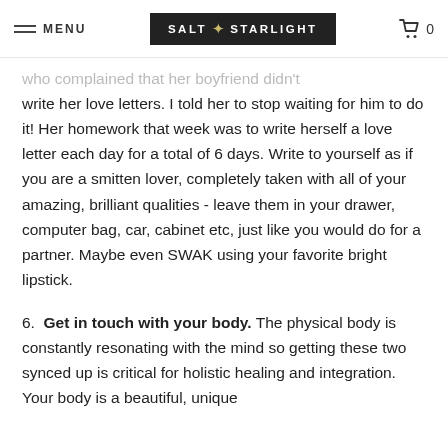MENU | SALT STARLIGHT | 0
who complained that her boyfriend didn't write her love letters. I told her to stop waiting for him to do it! Her homework that week was to write herself a love letter each day for a total of 6 days. Write to yourself as if you are a smitten lover, completely taken with all of your amazing, brilliant qualities - leave them in your drawer, computer bag, car, cabinet etc, just like you would do for a partner. Maybe even SWAK using your favorite bright lipstick.
6. Get in touch with your body. The physical body is constantly resonating with the mind so getting these two synced up is critical for holistic healing and integration. Your body is a beautiful, unique